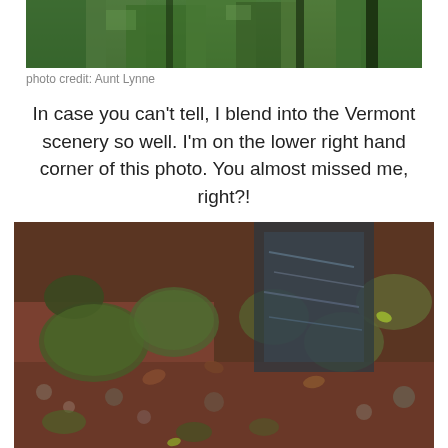[Figure (photo): Forest scenery with green trees and a person partially visible in the lower right corner]
photo credit: Aunt Lynne
In case you can't tell, I blend into the Vermont scenery so well. I'm on the lower right hand corner of this photo. You almost missed me, right?!
[Figure (photo): Close-up of mossy rocks, pebbles, and a small stream with reddish-brown mud and green moss]